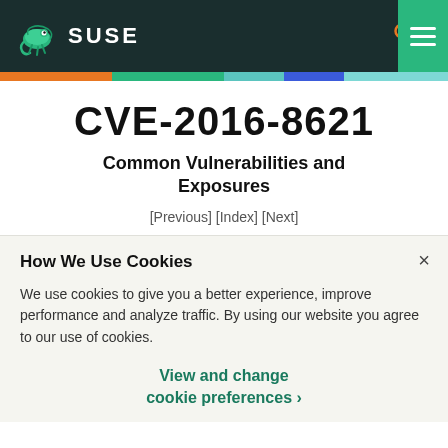[Figure (logo): SUSE logo with chameleon icon and SUSE text in white on dark teal header, with search and hamburger menu icons]
CVE-2016-8621
Common Vulnerabilities and Exposures
[Previous] [Index] [Next]
How We Use Cookies
We use cookies to give you a better experience, improve performance and analyze traffic. By using our website you agree to our use of cookies.
View and change cookie preferences >